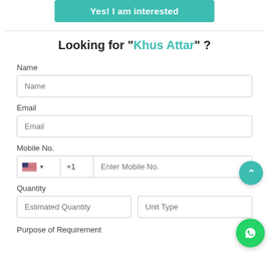Yes! I am interested
Looking for "Khus Attar" ?
Name
Name
Email
Email
Mobile No.
+1  Enter Mobile No.
Quantity
Estimated Quantity
Unit Type
Purpose of Requirement